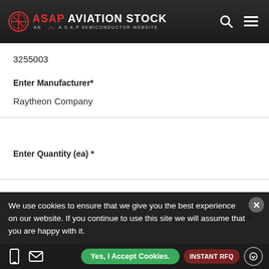ASAP AVIATION STOCK — AN A.S.A.P SEMICONDUCTOR WEBSITE
3255003
Enter Manufacturer*
Raytheon Company
Enter Quantity (ea) *
Need Parts By *
We use cookies to ensure that we give you the best experience on our website. If you continue to use this site we will assume that you are happy with it.
Yes, I Accept Cookies. | INSTANT RFQ